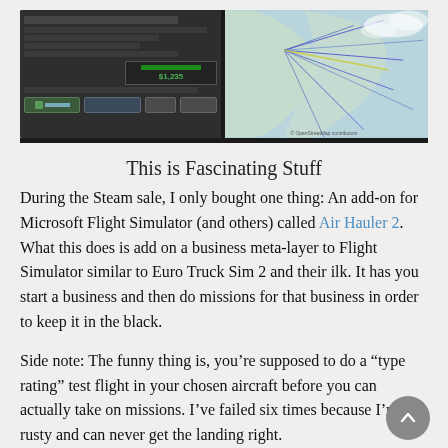[Figure (screenshot): Screenshot showing Microsoft Flight Simulator with Air Hauler 2 add-on interface on the left (dark UI with green elements and dollar amount $1,235) and a map with flight route lines on the right showing a geographic area with blue/teal coloring]
This is Fascinating Stuff
During the Steam sale, I only bought one thing: An add-on for Microsoft Flight Simulator (and others) called Air Hauler 2. What this does is add on a business meta-layer to Flight Simulator similar to Euro Truck Sim 2 and their ilk. It has you start a business and then do missions for that business in order to keep it in the black.
Side note: The funny thing is, you're supposed to do a "type rating" test flight in your chosen aircraft before you can actually take on missions. I've failed six times because I'm so rusty and can never get the landing right.
The point being, it's given PURPOSE to Flight Simulator where it really had none before. I love Flight Simulator, don't get me wrong, but I began flying it (back when it was Sublogic Flight Simulator) when just the time spent flying virtual aircraft was enough for me. It didn't matter what was the purpose or...